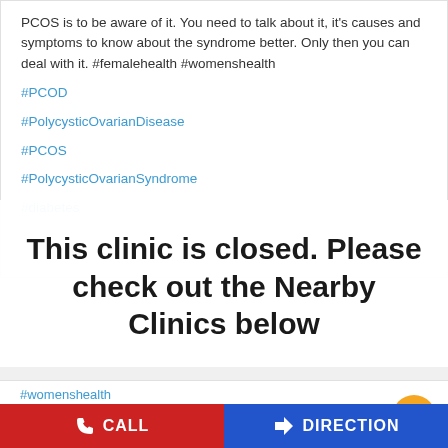PCOS is to be aware of it. You need to talk about it, it's causes and symptoms to know about the syndrome better. Only then you can deal with it. #femalehealth #womenshealth
#PCOD
#PolycysticOvarianDisease
#PCOS
#PolycysticOvarianSyndrome
#diabetes
This clinic is closed. Please check out the Nearby Clinics below
#womenshealth
Posted On: 16 Sep 2020 7:24 PM
[Figure (infographic): Social share icons: Facebook, Twitter, WhatsApp]
[Figure (infographic): Orange scroll-to-top button with upward chevron]
[Figure (infographic): Bottom action bar with red CALL button and blue DIRECTION button]